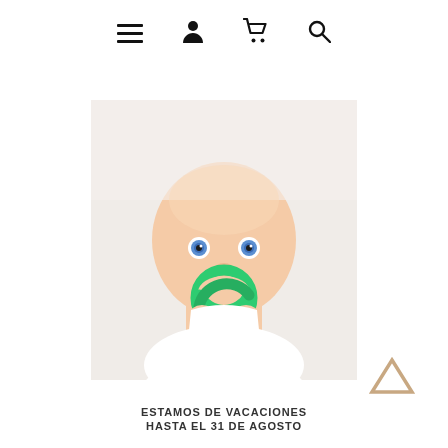Navigation icons: menu, person, cart, search
[Figure (photo): Close-up photo of a baby with blue eyes biting on a green circular teether ring, wearing a white outfit, against a white background]
ESTAMOS DE VACACIONES
HASTA EL 31 DE AGOSTO